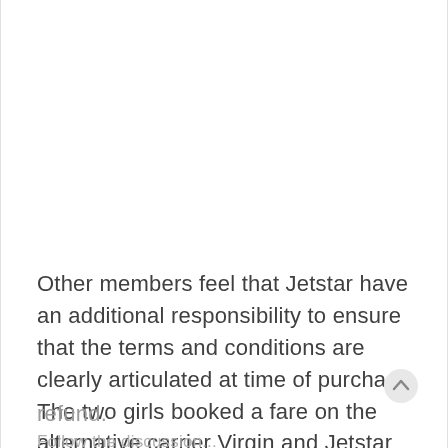Other members feel that Jetstar have an additional responsibility to ensure that the terms and conditions are clearly articulated at time of purchase. The two girls booked a fare on the alternative carrier Virgin and Jetstar have undertaken to provide a full refund.
Follow the discussion...